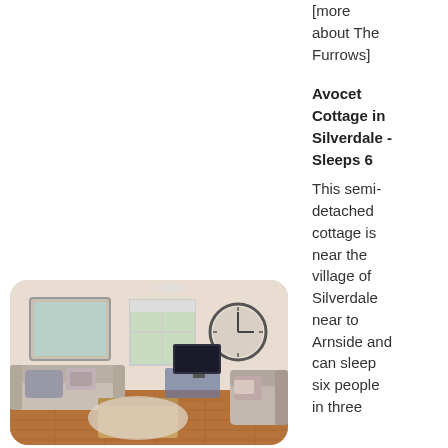[more about The Furrows]
Avocet Cottage in Silverdale - Sleeps 6
This semi-detached cottage is near the village of Silverdale near to Arnside and can sleep six people in three
[Figure (photo): Interior of a living room with sofas, coffee table, TV, mirror and decorative clock on the wall]